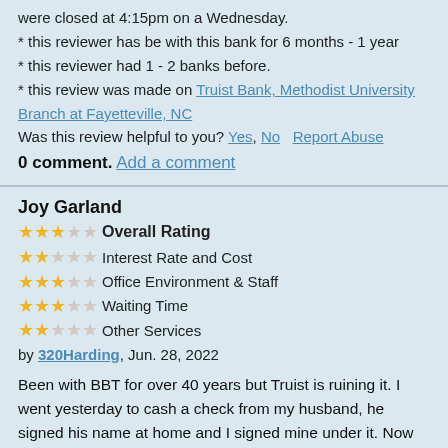were closed at 4:15pm on a Wednesday.
* this reviewer has be with this bank for 6 months - 1 year
* this reviewer had 1 - 2 banks before.
* this review was made on Truist Bank, Methodist University Branch at Fayetteville, NC
Was this review helpful to you? Yes, No   Report Abuse
0 comment. Add a comment
Joy Garland
3 stars Overall Rating
2 stars Interest Rate and Cost
3 stars Office Environment & Staff
3 stars Waiting Time
2 stars Other Services
by 320Harding, Jun. 28, 2022
Been with BBT for over 40 years but Truist is ruining it.  I went yesterday to cash a check from my husband, he signed his name at home and I signed mine under it.  Now you tell me he has to be with me from now on in person!  He just had his left lung removed so that's not going to happen!  We are senior citizens and two people